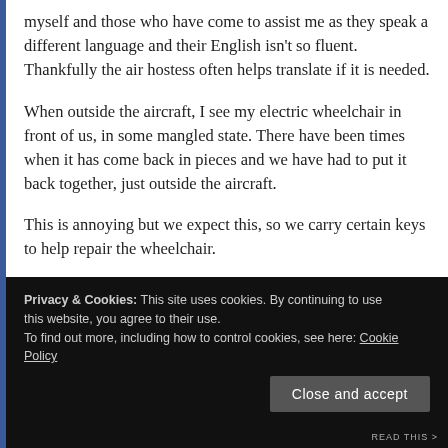myself and those who have come to assist me as they speak a different language and their English isn't so fluent. Thankfully the air hostess often helps translate if it is needed.
When outside the aircraft, I see my electric wheelchair in front of us, in some mangled state. There have been times when it has come back in pieces and we have had to put it back together, just outside the aircraft.
This is annoying but we expect this, so we carry certain keys to help repair the wheelchair.
Privacy & Cookies: This site uses cookies. By continuing to use this website, you agree to their use. To find out more, including how to control cookies, see here: Cookie Policy